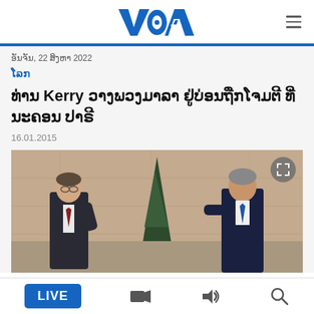VOA
ອັນຈັນ, 22 ສິງຫາ 2022
ໂລກ
ທ່ານ Kerry ວາງພວງມາລາ ຢູ່ບ່ອນຖືກໂຈມຕີ ທີ່ນະຄອນ ປາຣີ
16.01.2015
[Figure (photo): Two men facing each other outdoors near a building with a tall conical evergreen tree in the background — likely French President François Hollande and US Secretary of State John Kerry meeting in Paris.]